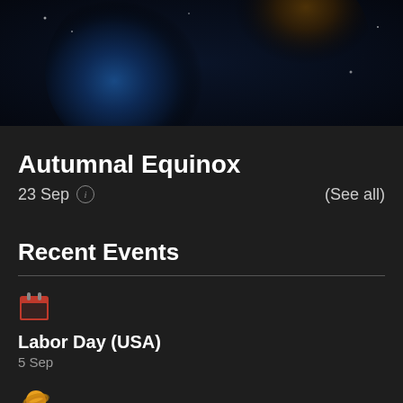[Figure (photo): Partial view of Earth from space with dark background, showing blue ocean and golden landmasses]
Autumnal Equinox
23 Sep  (See all)
Recent Events
[Figure (illustration): Red calendar icon]
Labor Day (USA)
5 Sep
[Figure (illustration): Yellow/orange planet (Saturn) icon]